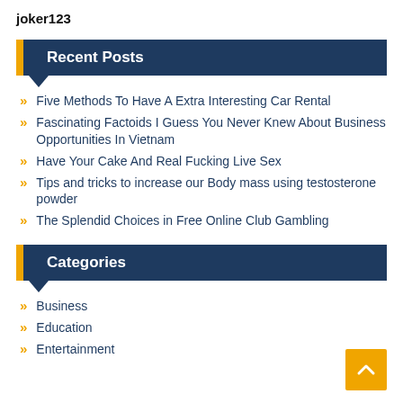joker123
Recent Posts
Five Methods To Have A Extra Interesting Car Rental
Fascinating Factoids I Guess You Never Knew About Business Opportunities In Vietnam
Have Your Cake And Real Fucking Live Sex
Tips and tricks to increase our Body mass using testosterone powder
The Splendid Choices in Free Online Club Gambling
Categories
Business
Education
Entertainment